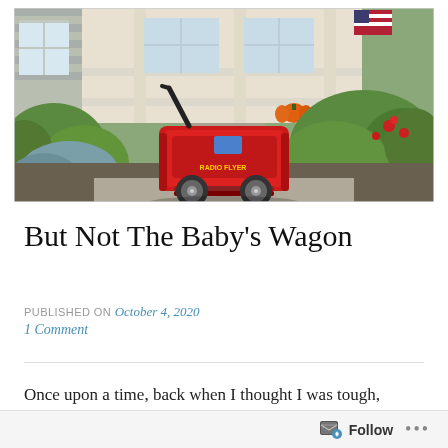[Figure (photo): A red Radio Flyer children's wagon sitting on a concrete path in front of a house, surrounded by green bushes and landscaping. An American flag is visible on the porch in the background, and there is a pumpkin near the front door.]
But Not The Baby's Wagon
PUBLISHED ON October 4, 2020
1 Comment
Once upon a time, back when I thought I was tough,
when I believed wholeheartedly that life will beat